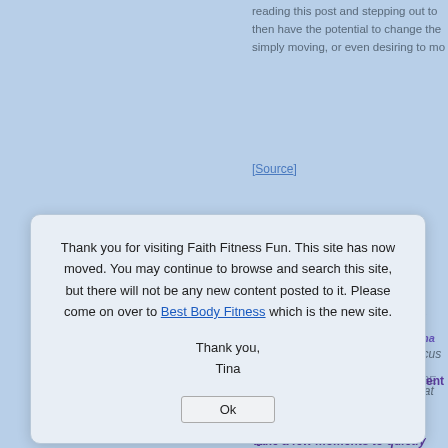reading this post and stepping out to then have the potential to change the simply moving, or even desiring to mo
[Source]
knew change was possible and tha
god, but I still had to do the actions remember how wonderful you are. BE
an change your outlook, your focus,
Take a few moments to quietly refle offer. You have something! Focus o remember who YOU are and what yo
What do you have to be confident a
forget that affirmation!
Quotes to Reflect On
[Figure (screenshot): A modal dialog box overlaid on a light blue webpage. The modal says: 'Thank you for visiting Faith Fitness Fun. This site has now moved. You may continue to browse and search this site, but there will not be any new content posted to it. Please come on over to Best Body Fitness which is the new site. Thank you, Tina' with an Ok button.]